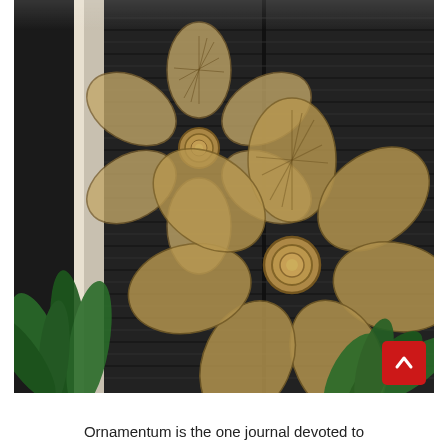[Figure (photo): Two large decorative burlap/jute mesh flowers mounted on a dark black louvered shutter wall. The flowers have woven mesh petals with a coiled rope center. Green tropical plants are visible in the lower left corner. A red back-to-top button with a white chevron/arrow is in the lower right corner of the photo.]
Ornamentum is the one journal devoted to